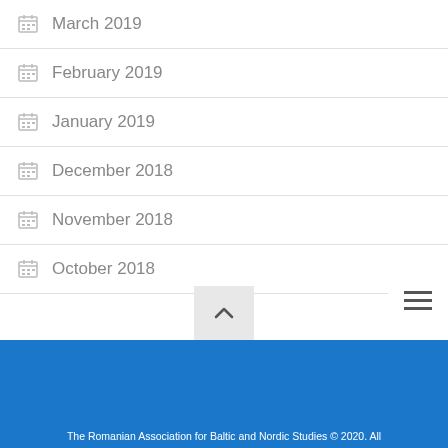March 2019
February 2019
January 2019
December 2018
November 2018
October 2018
The Romanian Association for Baltic and Nordic Studies © 2020. All